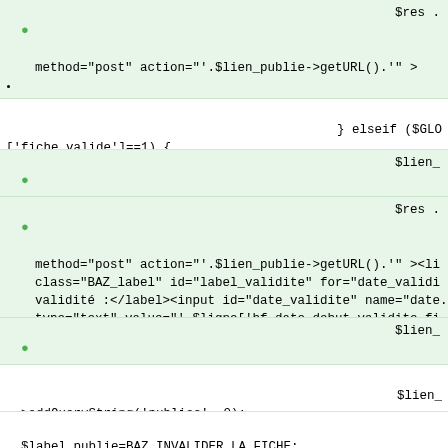code block: method="post" action="'.$lien_publie->getURL().'" ><li class="BAZ_label" id="label_validite" for="date_validi validité :</label><input id="date_validite" name="date. type="text" value="'.$ligne['bf_date_debut_validite_fi </li> <li><input class="bouton_valider" type="submit" la fiche" /></li></form>';
} elseif ($GLO ['fiche_valide']==1) {
$lien_ >addQueryString('publiee', 1);
$res . method="post" action="'.$lien_publie->getURL().'" ><li class="BAZ_label" id="label_validite" for="date_validi validité :</label><input id="date_validite" name="date. type="text" value="'.$ligne['bf_date_debut_validite_fi <input type="submit" class="bouton_valider" value="Mod </form>';
$lien_ >removeQueryString('publiee');
$lien_ >addQueryString('publiee', 0);
$label_publie=BAZ_INVALIDER_LA_FICHE;
$class_publie='_invalider';